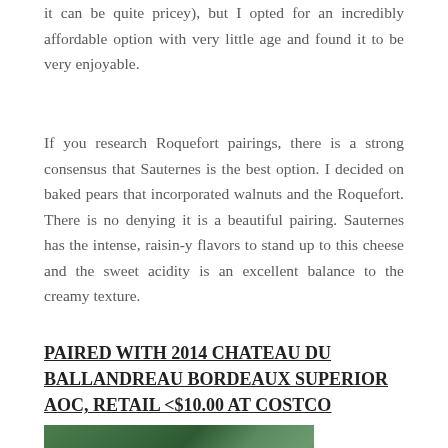it can be quite pricey), but I opted for an incredibly affordable option with very little age and found it to be very enjoyable.
If you research Roquefort pairings, there is a strong consensus that Sauternes is the best option. I decided on baked pears that incorporated walnuts and the Roquefort. There is no denying it is a beautiful pairing. Sauternes has the intense, raisin-y flavors to stand up to this cheese and the sweet acidity is an excellent balance to the creamy texture.
PAIRED WITH 2014 CHATEAU DU BALLANDREAU BORDEAUX SUPERIOR AOC, RETAIL <$10.00 AT COSTCO
[Figure (photo): Partial view of a green/nature themed photograph at the bottom of the page, cut off]